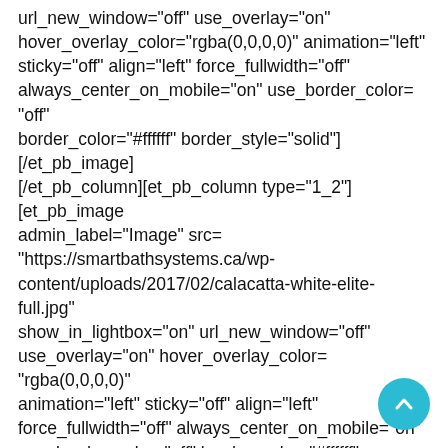url_new_window="off" use_overlay="on" hover_overlay_color="rgba(0,0,0,0)" animation="left" sticky="off" align="left" force_fullwidth="off" always_center_on_mobile="on" use_border_color="off" border_color="#ffffff" border_style="solid"] [/et_pb_image] [/et_pb_column][et_pb_column type="1_2"][et_pb_image admin_label="Image" src="https://smartbathsystems.ca/wp-content/uploads/2017/02/calacatta-white-elite-full.jpg" show_in_lightbox="on" url_new_window="off" use_overlay="on" hover_overlay_color="rgba(0,0,0,0)" animation="left" sticky="off" align="left" force_fullwidth="off" always_center_on_mobile="on" use_border_color="off" border_color="#ffffff" border_style="solid"] [/et_pb_image][/et_pb_column] [/et_pb_row][/et_pb_section][et_pb_section admin_label="Section" fullwidth="off" specialty="off" transparent_background="off" allow_player_pause="off" inner_shadow="off" parallax="off" parallax_method="c custom_padding="0px||0px|" padding_mobile="off"
[Figure (other): Teal/cyan circular scroll-to-top button with upward chevron arrow]